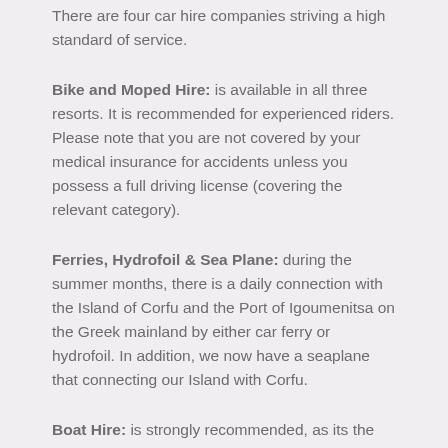There are four car hire companies striving a high standard of service.
Bike and Moped Hire: is available in all three resorts. It is recommended for experienced riders. Please note that you are not covered by your medical insurance for accidents unless you possess a full driving license (covering the relevant category).
Ferries, Hydrofoil & Sea Plane: during the summer months, there is a daily connection with the Island of Corfu and the Port of Igoumenitsa on the Greek mainland by either car ferry or hydrofoil. In addition, we now have a seaplane that connecting our Island with Corfu.
Boat Hire: is strongly recommended, as its the best way to explore the Island allowing you access to beaches that are not accessible by road. This usually means that early and end of season that you will find your own bay for sunbathing or a picnic. There are